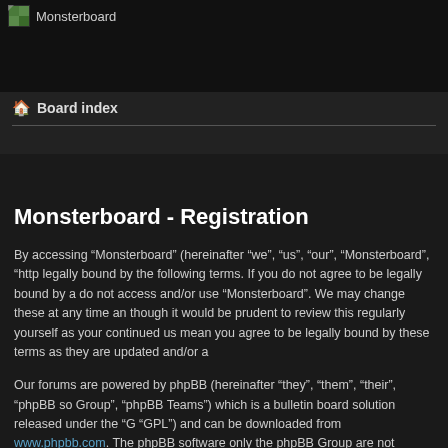Monsterboard
Board index
Monsterboard - Registration
By accessing “Monsterboard” (hereinafter “we”, “us”, “our”, “Monsterboard”, “http legally bound by the following terms. If you do not agree to be legally bound by a do not access and/or use “Monsterboard”. We may change these at any time and though it would be prudent to review this regularly yourself as your continued usa mean you agree to be legally bound by these terms as they are updated and/or a
Our forums are powered by phpBB (hereinafter “they”, “them”, “their”, “phpBB so Group”, “phpBB Teams”) which is a bulletin board solution released under the “G “GPL”) and can be downloaded from www.phpbb.com. The phpBB software only the phpBB Group are not responsible for what we allow and/or disallow as permi further information about phpBB, please see: https://www.phpbb.com/.